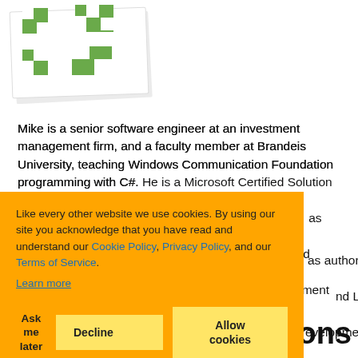[Figure (logo): Green and white puzzle-piece style logo on white background with slight shadow/tilt effect]
Mike is a senior software engineer at an investment management firm, and a faculty member at Brandeis University, teaching Windows Communication Foundation programming with C#. He is a Microsoft Certified Solution Developer and a [partially obscured] has authored a [partially obscured] nd LINQ. [partially obscured] evelopment
Like every other website we use cookies. By using our site you acknowledge that you have read and understand our Cookie Policy, Privacy Policy, and our Terms of Service. Learn more
Ask me later   Decline   Allow cookies
ons